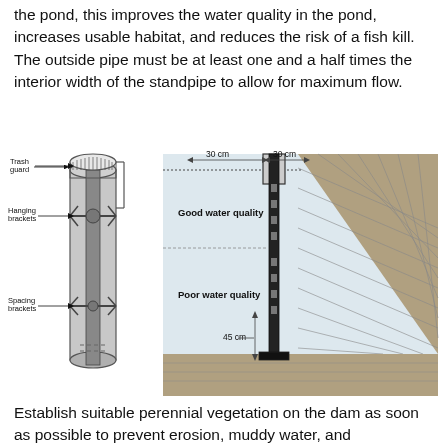the pond, this improves the water quality in the pond, increases usable habitat, and reduces the risk of a fish kill. The outside pipe must be at least one and a half times the interior width of the standpipe to allow for maximum flow.
[Figure (engineering-diagram): Engineering diagram showing two components: (left) a cylindrical standpipe/riser with trash guard at top, hanging brackets in middle, and spacing brackets lower down; (right) a cross-section of a pond dam showing the standpipe installed with 30 cm measurements at top, zones labeled 'Good water quality' and 'Poor water quality', and 45 cm measurement at base, with the dam embankment shown as textured slope on the right.]
Establish suitable perennial vegetation on the dam as soon as possible to prevent erosion, muddy water, and